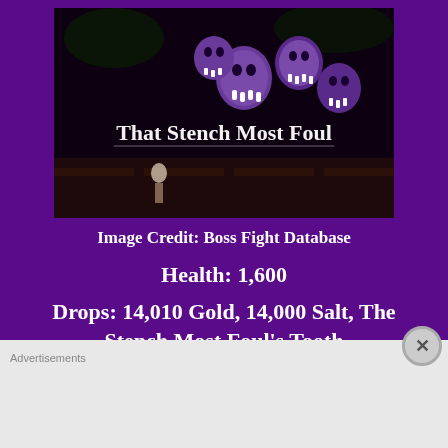[Figure (screenshot): Dark game screenshot showing creature boss with text 'That Stench Most Foul' overlaid on a dark background with purple skull-like creatures.]
Image Credit: Boss Fight Database
Health: 1,600
Drops: 14,010 Gold, 14,000 Salt, The Stench Most Foul's Tooth